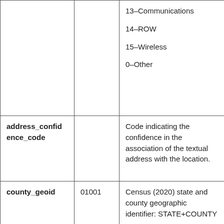| Field | Example | Description |
| --- | --- | --- |
|  |  | 13–Communications
14–ROW
15–Wireless
0–Other |
| address_confidence_code |  | Code indicating the confidence in the association of the textual address with the location. |
| county_geoid | 01001 | Census (2020) state and county geographic identifier: STATE+COUNTY |
|  |  | Census block (2020) |